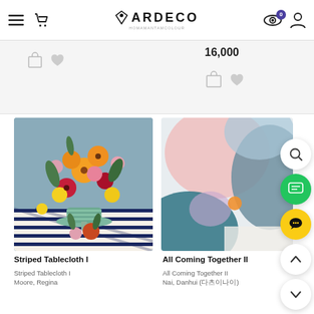ARDECO
16,000
[Figure (illustration): Painting of a colorful floral arrangement with orange, red, yellow, and pink flowers in a striped bowl on a striped tablecloth]
Striped Tablecloth I
Striped Tablecloth I
Moore, Regina
[Figure (illustration): Abstract painting with soft pastel shapes — pink, lavender, teal, and blue organic forms on a light background with a small orange circle]
All Coming Together II
All Coming Together II
Nai, Danhui (다츠이나이)